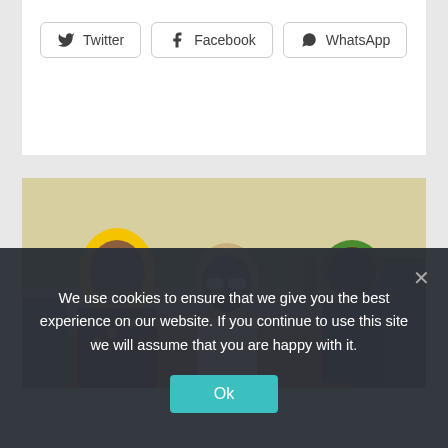[Figure (other): Social share buttons: Twitter, Facebook, WhatsApp with icons on a white card]
[Figure (photo): Three people laughing in an open-top convertible car. Woman with bright yellow hair on left, man with bleached hair and white sunglasses in center laughing with mouth open, man with green hair on right. Trees and hills in background.]
We use cookies to ensure that we give you the best experience on our website. If you continue to use this site we will assume that you are happy with it.